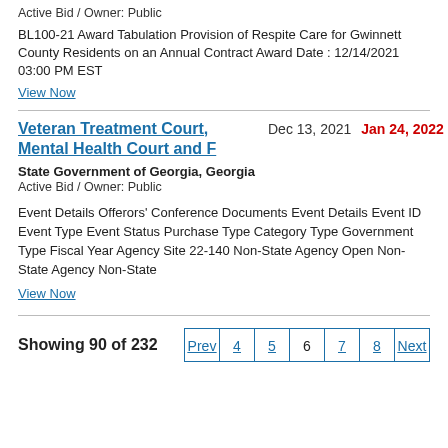Active Bid / Owner: Public
BL100-21 Award Tabulation Provision of Respite Care for Gwinnett County Residents on an Annual Contract Award Date : 12/14/2021 03:00 PM EST
View Now
Veteran Treatment Court, Mental Health Court and F   Dec 13, 2021   Jan 24, 2022
State Government of Georgia, Georgia
Active Bid / Owner: Public
Event Details Offerors' Conference Documents Event Details Event ID Event Type Event Status Purchase Type Category Type Government Type Fiscal Year Agency Site 22-140 Non-State Agency Open Non-State Agency Non-State
View Now
Showing 90 of 232
Prev 4 5 6 7 8 Next